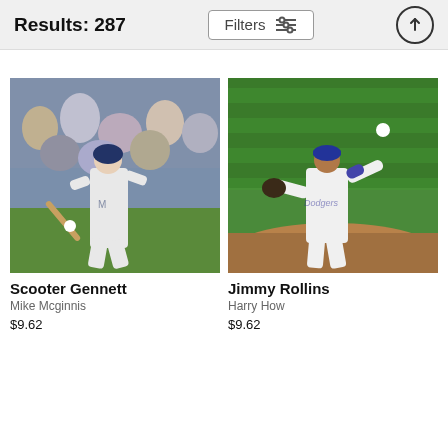Results: 287
[Figure (screenshot): Filters button with sliders icon]
[Figure (photo): Scooter Gennett batting in Milwaukee Brewers uniform]
Scooter Gennett
Mike Mcginnis
$9.62
[Figure (photo): Jimmy Rollins fielding in Los Angeles Dodgers uniform, throwing ball]
Jimmy Rollins
Harry How
$9.62